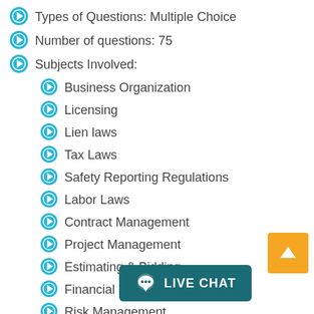Types of Questions: Multiple Choice
Number of questions: 75
Subjects Involved:
Business Organization
Licensing
Lien laws
Tax Laws
Safety Reporting Regulations
Labor Laws
Contract Management
Project Management
Estimating & Bidding
Financial Management
Risk Management
Seawalls & Small Docks Engineering Book Set
The books set as identified in the references for